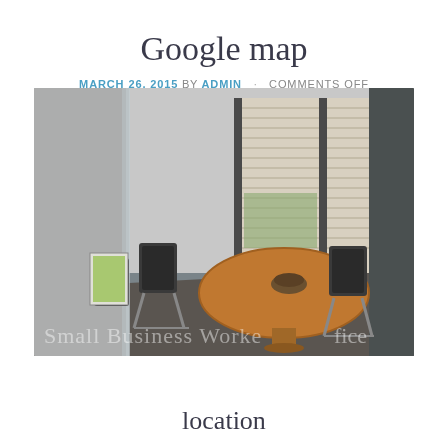Google map
MARCH 26, 2015 BY ADMIN · COMMENTS OFF
[Figure (photo): Interior of a small business meeting room with a round wooden table, dark chairs, glass partition walls, and window blinds in the background. Watermark text reads 'Small Business Worke fice' overlaid on the bottom of the image.]
location